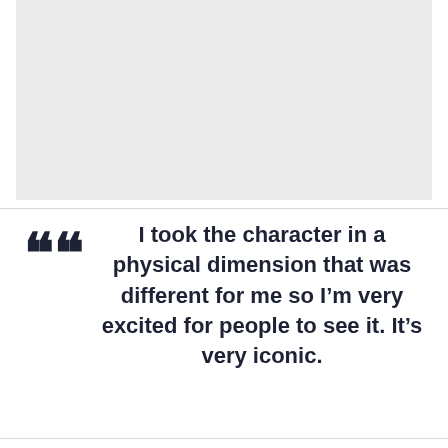[Figure (photo): Light gray rectangular image placeholder occupying the top portion of the page]
““ I took the character in a physical dimension that was different for me so I’m very excited for people to see it. It’s very iconic.